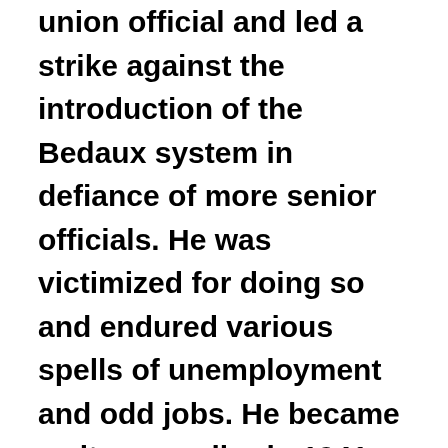union official and led a strike against the introduction of the Bedaux system in defiance of more senior officials. He was victimized for doing so and endured various spells of unemployment and odd jobs. He became a city councilor in 1941, an alderman in 1945 and in 1946 became both the Chairman of the Health Committee, Bevan's right hand man in the second city. Later, on becoming Lord